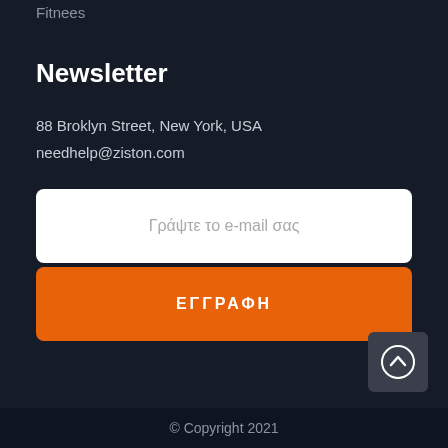Fitnees
Newsletter
88 Broklyn Street, New York, USA
needhelp@ziston.com
Γράψτε το e-mail σας
ΕΓΓΡΑΦΗ
© Copyright 2021